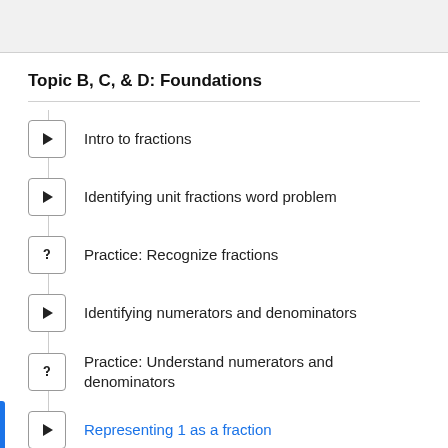Topic B, C, & D: Foundations
Intro to fractions
Identifying unit fractions word problem
Practice: Recognize fractions
Identifying numerators and denominators
Practice: Understand numerators and denominators
Representing 1 as a fraction